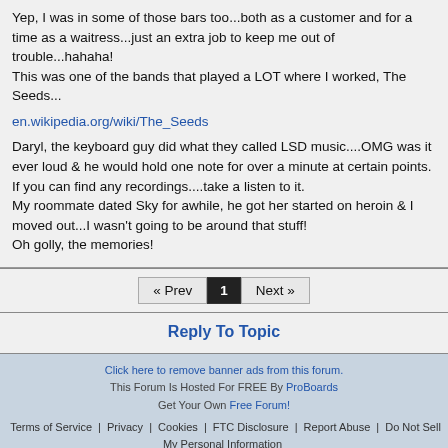Yep, I was in some of those bars too...both as a customer and for a time as a waitress...just an extra job to keep me out of trouble...hahaha!
This was one of the bands that played a LOT where I worked, The Seeds...
en.wikipedia.org/wiki/The_Seeds
Daryl, the keyboard guy did what they called LSD music....OMG was it ever loud & he would hold one note for over a minute at certain points.  If you can find any recordings....take a listen to it.
My roommate dated Sky for awhile, he got her started on heroin & I moved out...I wasn't going to be around that stuff!
Oh golly, the memories!
« Prev  1  Next »
Reply To Topic
Click here to remove banner ads from this forum.
This Forum Is Hosted For FREE By ProBoards
Get Your Own Free Forum!
Terms of Service  Privacy  Cookies  FTC Disclosure  Report Abuse  Do Not Sell My Personal Information
◄ Back  ▲ Top  Desktop